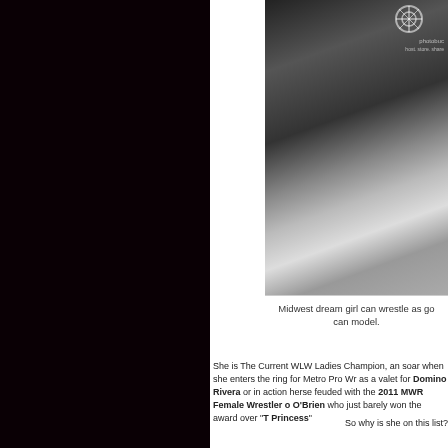[Figure (photo): Black and white photo of a female wrestler/model in dark outfit on a light floor, with Photobucket watermark in top right]
Midwest dream girl can wrestle as go can model.
She is The Current WLW Ladies Champion, and soar when she enters the ring for Metro Pro Wr as a valet for Domino Rivera or in action herse feuded with the 2011 MWR Female Wrestler o O'Brien who just barely won the award over "T Princess"
So why is she on this list?